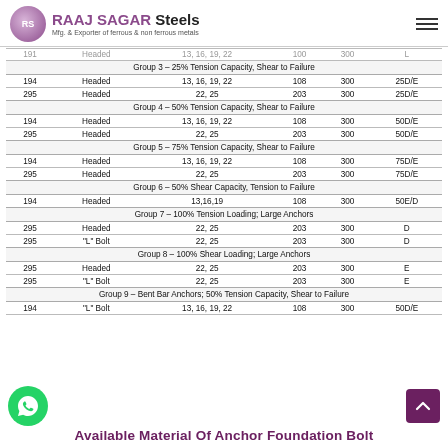RAAJ SAGAR Steels — Mfg. & Exporter of ferrous & non ferrous metals
|  |  | Group 3 – 25% Tension Capacity, Shear to Failure |  |  |  |
| --- | --- | --- | --- | --- | --- |
| 194 | Headed | 13, 16, 19, 22 | 108 | 300 | 25D/E |
| 295 | Headed | 22, 25 | 203 | 300 | 25D/E |
|  |  | Group 4 – 50% Tension Capacity, Shear to Failure |  |  |  |
| 194 | Headed | 13, 16, 19, 22 | 108 | 300 | 50D/E |
| 295 | Headed | 22, 25 | 203 | 300 | 50D/E |
|  |  | Group 5 – 75% Tension Capacity, Shear to Failure |  |  |  |
| 194 | Headed | 13, 16, 19, 22 | 108 | 300 | 75D/E |
| 295 | Headed | 22, 25 | 203 | 300 | 75D/E |
|  |  | Group 6 – 50% Shear Capacity, Tension to Failure |  |  |  |
| 194 | Headed | 13,16,19 | 108 | 300 | 50E/D |
|  |  | Group 7 – 100% Tension Loading; Large Anchors |  |  |  |
| 295 | Headed | 22, 25 | 203 | 300 | D |
| 295 | "L" Bolt | 22, 25 | 203 | 300 | D |
|  |  | Group 8 – 100% Shear Loading; Large Anchors |  |  |  |
| 295 | Headed | 22, 25 | 203 | 300 | E |
| 295 | "L" Bolt | 22, 25 | 203 | 300 | E |
|  |  | Group 9 – Bent Bar Anchors; 50% Tension Capacity, Shear to Failure |  |  |  |
| 194 | "L" Bolt | 13, 16, 19, 22 | 108 | 300 | 50D/E |
Available Material Of Anchor Foundation Bolt